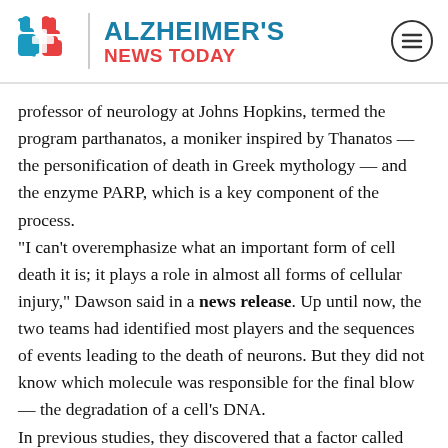[Figure (logo): Alzheimer's News Today logo with puzzle-piece brain icon in teal and red, site name in two-tone text (teal 'ALZHEIMER'S', red 'NEWS TODAY'), and a hamburger menu icon in a circle on the right.]
professor of neurology at Johns Hopkins, termed the program parthanatos, a moniker inspired by Thanatos — the personification of death in Greek mythology — and the enzyme PARP, which is a key component of the process.
“I can’t overemphasize what an important form of cell death it is; it plays a role in almost all forms of cellular injury,” Dawson said in a news release. Up until now, the two teams had identified most players and the sequences of events leading to the death of neurons. But they did not know which molecule was responsible for the final blow — the degradation of a cell’s DNA.
In previous studies, they discovered that a factor called AIF (apoptosis-inducing factor) is involved